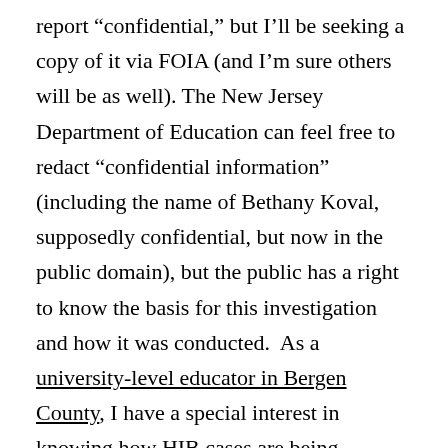report “confidential,” but I’ll be seeking a copy of it via FOIA (and I’m sure others will be as well). The New Jersey Department of Education can feel free to redact “confidential information” (including the name of Bethany Koval, supposedly confidential, but now in the public domain), but the public has a right to know the basis for this investigation and how it was conducted.  As a university-level educator in Bergen County, I have a special interest in knowing how HIB cases are being investigated, and what constitutes a warranted trigger for one. There are, frankly, limits to how much we can be expected to put up with in the way of opacity, incoherence, irrationality, and